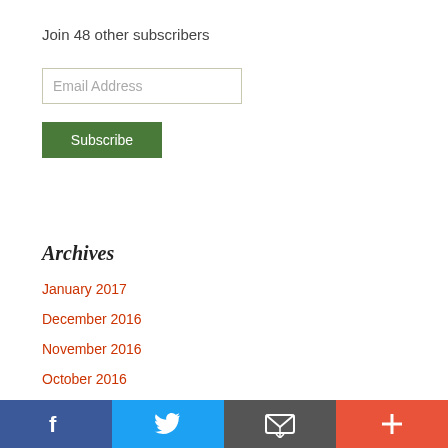Join 48 other subscribers
[Figure (screenshot): Email Address input field with border]
[Figure (screenshot): Subscribe button, green background]
Archives
January 2017
December 2016
November 2016
October 2016
f  [twitter bird]  [email icon]  +